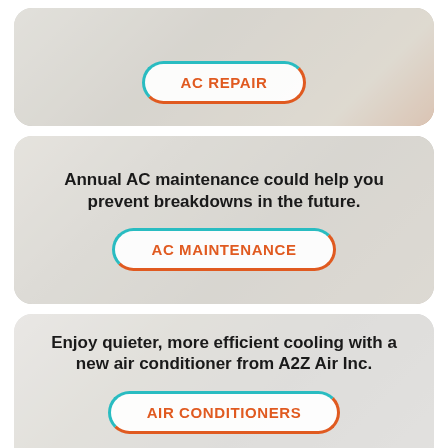[Figure (infographic): AC Repair card with background photo of technician working, containing a button labeled AC REPAIR]
Annual AC maintenance could help you prevent breakdowns in the future.
[Figure (infographic): AC Maintenance card with background photo, containing descriptive text and a button labeled AC MAINTENANCE]
Enjoy quieter, more efficient cooling with a new air conditioner from A2Z Air Inc.
[Figure (infographic): Air Conditioners card with background photo of AC unit, containing descriptive text and a button labeled AIR CONDITIONERS]